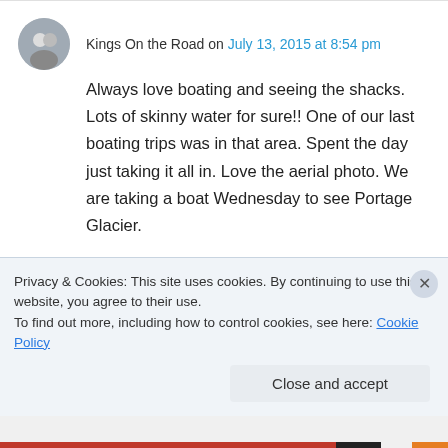Kings On the Road on July 13, 2015 at 8:54 pm
Always love boating and seeing the shacks. Lots of skinny water for sure!! One of our last boating trips was in that area. Spent the day just taking it all in. Love the aerial photo. We are taking a boat Wednesday to see Portage Glacier.
↳ Reply
Privacy & Cookies: This site uses cookies. By continuing to use this website, you agree to their use.
To find out more, including how to control cookies, see here: Cookie Policy
Close and accept